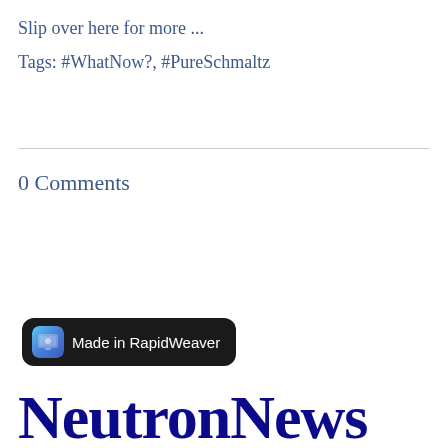Slip over here for more ...
Tags: #WhatNow?, #PureSchmaltz
0 Comments
[Figure (screenshot): Tooltip overlay showing 'Made in RapidWeaver' with app icon]
NeutronNews